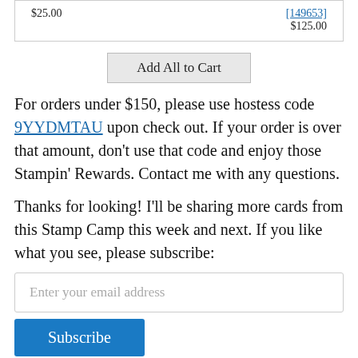| $25.00 | [149653]
$125.00 |
[Figure (other): Add All to Cart button]
For orders under $150, please use hostess code 9YYDMTAU upon check out. If your order is over that amount, don't use that code and enjoy those Stampin' Rewards. Contact me with any questions.
Thanks for looking! I'll be sharing more cards from this Stamp Camp this week and next. If you like what you see, please subscribe:
[Figure (other): Email subscription input field with placeholder 'Enter your email address']
[Figure (other): Subscribe button (blue)]